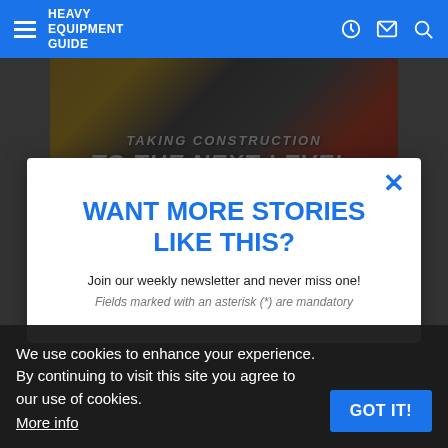Heavy Equipment Guide
[Figure (photo): Construction equipment photo with text overlay: TAKING CONSTRUCTION TO THE NEXT LEVEL.]
WANT MORE STORIES LIKE THIS?
Join our weekly newsletter and never miss one!
Fields marked with an asterisk (*) are mandatory
We use cookies to enhance your experience. By continuing to visit this site you agree to our use of cookies.
More info
GOT IT!